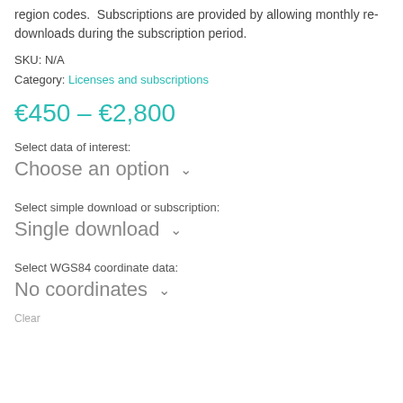region codes. Subscriptions are provided by allowing monthly re-downloads during the subscription period.
SKU: N/A
Category: Licenses and subscriptions
€450 – €2,800
Select data of interest:
Choose an option
Select simple download or subscription:
Single download
Select WGS84 coordinate data:
No coordinates
Clear